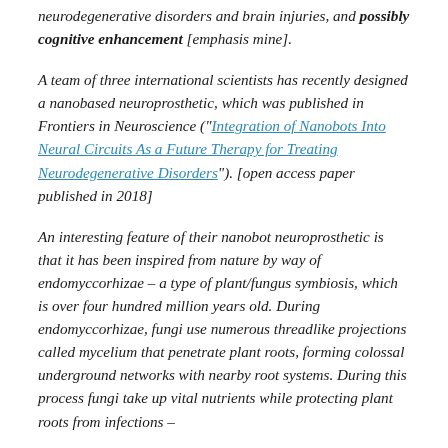neurodegenerative disorders and brain injuries, and possibly cognitive enhancement [emphasis mine].
A team of three international scientists has recently designed a nanobased neuroprosthetic, which was published in Frontiers in Neuroscience ("Integration of Nanobots Into Neural Circuits As a Future Therapy for Treating Neurodegenerative Disorders"). [open access paper published in 2018]
An interesting feature of their nanobot neuroprosthetic is that it has been inspired from nature by way of endomyccorhizae – a type of plant/fungus symbiosis, which is over four hundred million years old. During endomyccorhizae, fungi use numerous threadlike projections called mycelium that penetrate plant roots, forming colossal underground networks with nearby root systems. During this process fungi take up vital nutrients while protecting plant roots from infections –